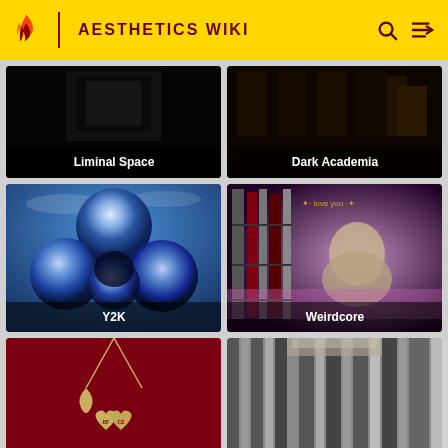Aesthetics Wiki
[Figure (screenshot): Liminal Space aesthetic card with dark empty room image and white label text at bottom]
[Figure (screenshot): Dark Academia aesthetic card with dark library/candles image and white label text at bottom]
[Figure (screenshot): Y2K aesthetic card with blue CGI spheres/bubbles on blue sky background, white label text at bottom]
[Figure (screenshot): Weirdcore aesthetic card with figure and bookshelves, 'love you' text overlay in gold, white label at bottom]
[Figure (screenshot): BFF heart necklace on red background, partially visible card]
[Figure (screenshot): Classical columns architecture, partially visible card]